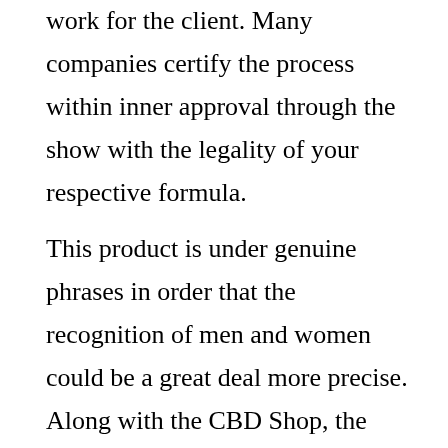work for the client. Many companies certify the process within inner approval through the show with the legality of your respective formula.
This product is under genuine phrases in order that the recognition of men and women could be a great deal more precise. Along with the CBD Shop, the placement method aids boost people’s documentation and receptivity.